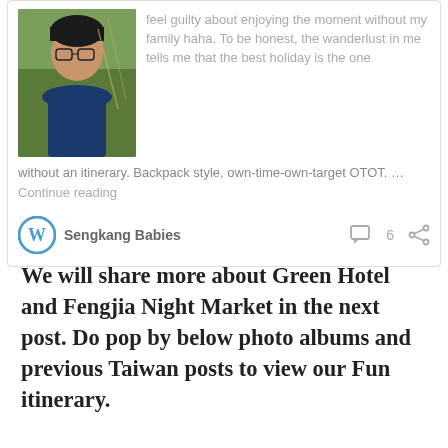[Figure (photo): Card with photo of a man with glasses in a green outdoor setting, with text excerpt to the right and below.]
feel guilty about enjoying the moment without my family haha. To be honest, the wanderlust in me tells me that the best holiday is the one without an itinerary. Backpack style, own-time-own-target OTOT. … Continue reading
Sengkang Babies
We will share more about Green Hotel and Fengjia Night Market in the next post. Do pop by below photo albums and previous Taiwan posts to view our Fun itinerary.